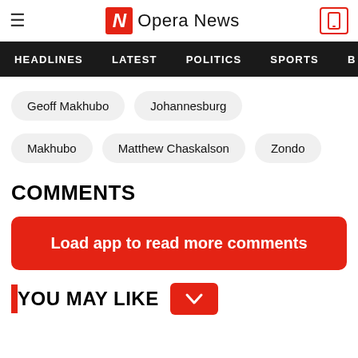Opera News
HEADLINES | LATEST | POLITICS | SPORTS
Geoff Makhubo
Johannesburg
Makhubo
Matthew Chaskalson
Zondo
COMMENTS
Load app to read more comments
YOU MAY LIKE